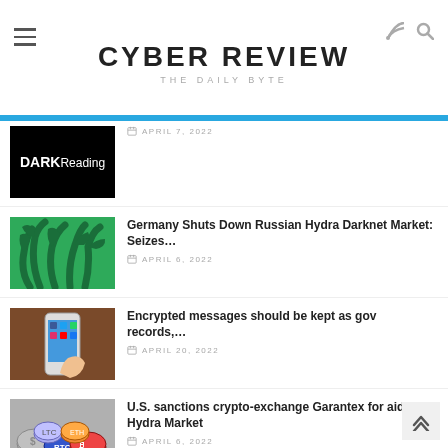CYBER REVIEW — THE DAILY BYTE
[Figure (logo): DARKReading logo on black background]
APRIL 7, 2022
Germany Shuts Down Russian Hydra Darknet Market: Seizes…
[Figure (illustration): Green image with dark tentacle/hydra shapes]
APRIL 6, 2022
Encrypted messages should be kept as gov records,...
[Figure (photo): Hand holding a smartphone with social media apps]
APRIL 20, 2022
U.S. sanctions crypto-exchange Garantex for aiding Hydra Market
[Figure (photo): Pile of cryptocurrency coins including Bitcoin]
APRIL 6, 2022